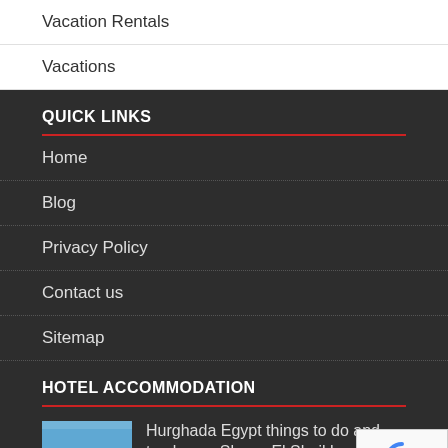Vacation Rentals
Vacations
QUICK LINKS
Home
Blog
Privacy Policy
Contact us
Sitemap
HOTEL ACCOMMODATION
Hurghada Egypt things to do and top bea… Sharm El Sheikh
April 3, 2019